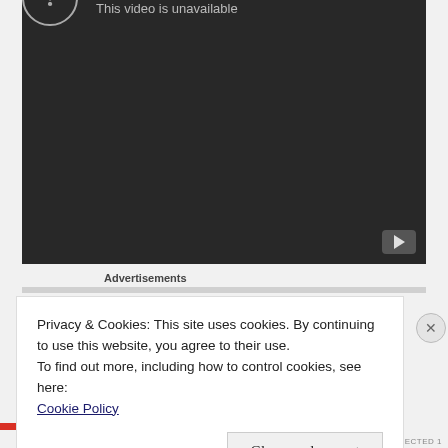[Figure (screenshot): YouTube video player showing error state: dark grey background with a circle-exclamation icon and text 'Video unavailable / This video is unavailable'. A YouTube button icon is in the bottom right corner.]
Advertisements
Privacy & Cookies: This site uses cookies. By continuing to use this website, you agree to their use.
To find out more, including how to control cookies, see here:
Cookie Policy
Close and accept